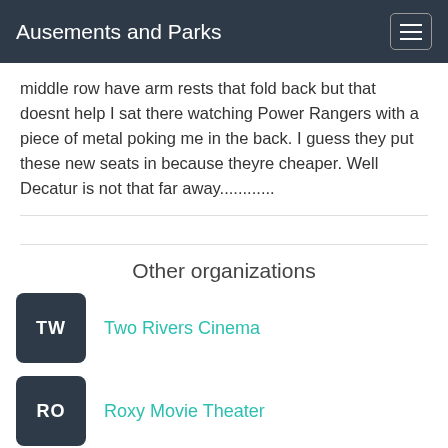Ausements and Parks
middle row have arm rests that fold back but that doesnt help I sat there watching Power Rangers with a piece of metal poking me in the back. I guess they put these new seats in because theyre cheaper. Well Decatur is not that far away............
Other organizations
TW Two Rivers Cinema
RO Roxy Movie Theater
AM AMC Showplace Schere...